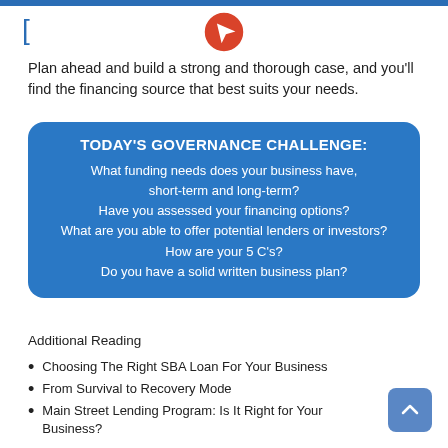Plan ahead and build a strong and thorough case, and you'll find the financing source that best suits your needs.
[Figure (infographic): Blue rounded rectangle box with white text. Title: TODAY'S GOVERNANCE CHALLENGE: followed by questions: What funding needs does your business have, short-term and long-term? Have you assessed your financing options? What are you able to offer potential lenders or investors? How are your 5 C's? Do you have a solid written business plan?]
Additional Reading
Choosing The Right SBA Loan For Your Business
From Survival to Recovery Mode
Main Street Lending Program: Is It Right for Your Business?